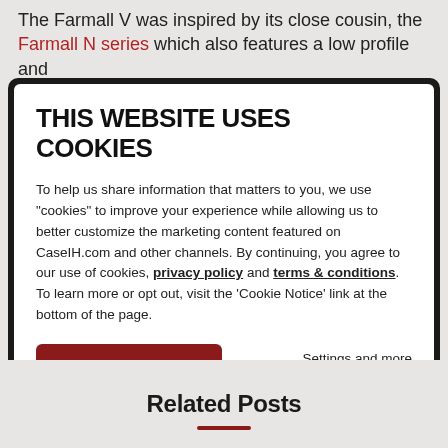The Farmall V was inspired by its close cousin, the Farmall N series which also features a low profile and
[Figure (screenshot): Cookie consent modal overlay on a dark background showing 'THIS WEBSITE USES COOKIES' heading, explanatory text about cookies and privacy policy, an 'AGREE, LET'S GO' red button, and a 'Settings and more information' link.]
Related Posts